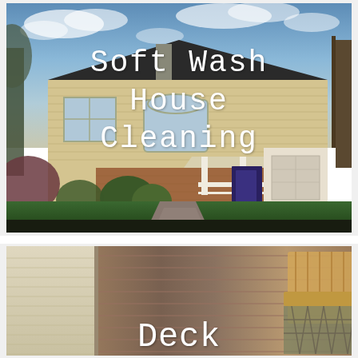[Figure (photo): Exterior photo of a two-story suburban house with beige siding, brick facade, covered front porch with white railings, attached garage, manicured lawn and garden beds, with a paved walkway. Sky with clouds visible in background. Text overlay reads 'Soft Wash House Cleaning' in white monospace font.]
[Figure (photo): Partial photo of a deck/patio area showing wooden deck boards, outdoor furniture including chairs, with siding visible at left. Text overlay reads 'Deck' in white monospace font at bottom center. Timestamp visible on right side: '10:40PM' rotated 90 degrees.]